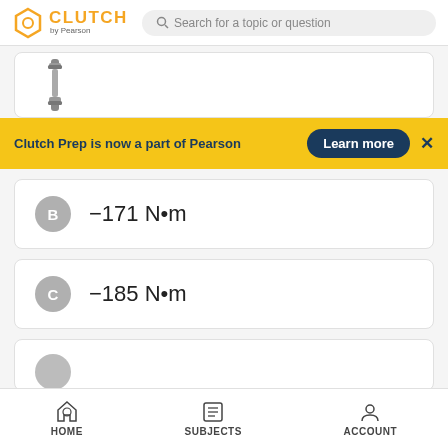CLUTCH by Pearson | Search for a topic or question
[Figure (photo): Dumbbell weight image at top of answer options]
Clutch Prep is now a part of Pearson   Learn more   ×
B  −171 N•m
C  −185 N•m
HOME   SUBJECTS   ACCOUNT